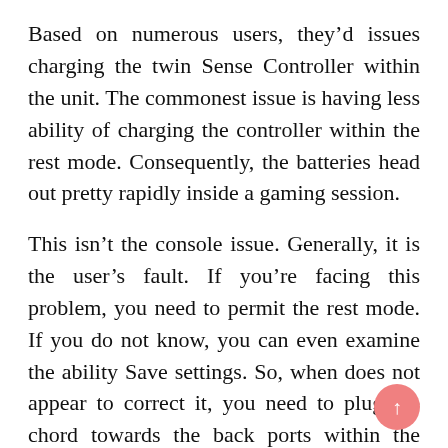Based on numerous users, they'd issues charging the twin Sense Controller within the unit. The commonest issue is having less ability of charging the controller within the rest mode. Consequently, the batteries head out pretty rapidly inside a gaming session.
This isn't the console issue. Generally, it is the user's fault. If you're facing this problem, you need to permit the rest mode. If you do not know, you can even examine the ability Save settings. So, when does not appear to correct it, you need to plug the chord towards the back ports within the unit.